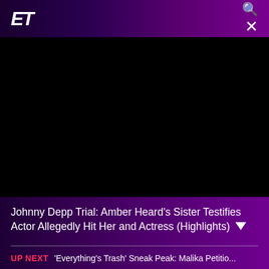ET
[Figure (screenshot): Black video player area showing a paused or loading video with no visible content]
Johnny Depp Trial: Amber Heard's Sister Testifies Actor Allegedly Hit Her and Actress (Highlights) ▼
UP NEXT  'Everything's Trash' Sneak Peak: Malika Petitio...